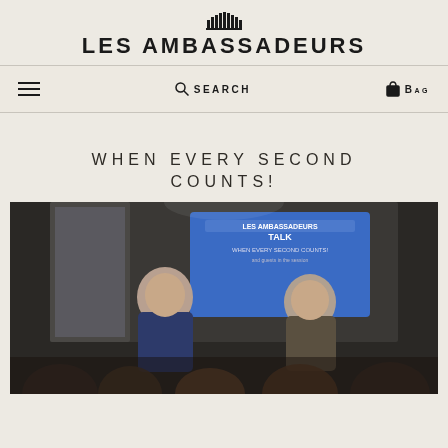LES AMBASSADEURS
SEARCH   BAG
WHEN EVERY SECOND COUNTS!
[Figure (photo): Two men seated on stage in front of a blue presentation screen displaying 'LES AMBASSADEURS TALK - WHEN EVERY SECOND COUNTS' with an audience in the foreground]